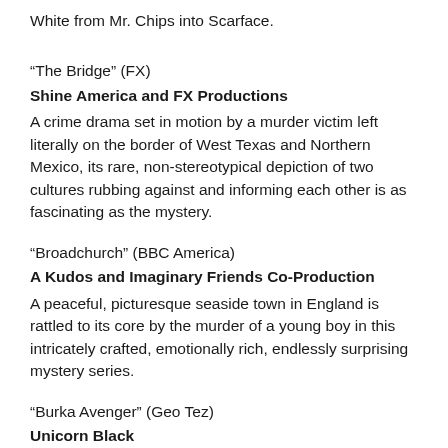White from Mr. Chips into Scarface.
“The Bridge” (FX)
Shine America and FX Productions
A crime drama set in motion by a murder victim left literally on the border of West Texas and Northern Mexico, its rare, non-stereotypical depiction of two cultures rubbing against and informing each other is as fascinating as the mystery.
“Broadchurch” (BBC America)
A Kudos and Imaginary Friends Co-Production
A peaceful, picturesque seaside town in England is rattled to its core by the murder of a young boy in this intricately crafted, emotionally rich, endlessly surprising mystery series.
“Burka Avenger” (Geo Tez)
Unicorn Black
Smart, colorful and provocative, this Pakistani-produced television program about a super-heroine sends a clear